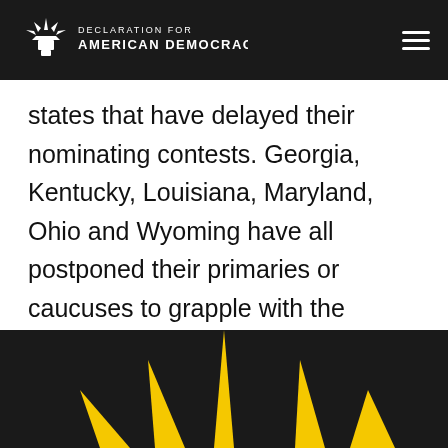Declaration for American Democracy
states that have delayed their nominating contests. Georgia, Kentucky, Louisiana, Maryland, Ohio and Wyoming have all postponed their primaries or caucuses to grapple with the coronavirus as government officials stress “social distancing” and avoiding groups of more than 10 people.
[Figure (logo): Declaration for American Democracy logo — yellow/gold star-burst with rays on black background, bottom of page]